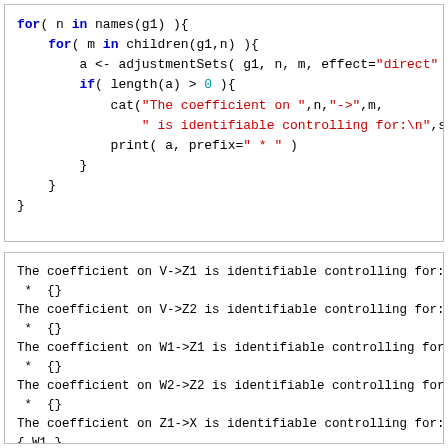[Figure (screenshot): R code block showing nested for loops iterating over names and children of a graph g1, computing adjustment sets for direct effects, and printing identifiable coefficients.]
The coefficient on V->Z1 is identifiable controlling for:
 * {}
The coefficient on V->Z2 is identifiable controlling for:
 * {}
The coefficient on W1->Z1 is identifiable controlling for:
 * {}
The coefficient on W2->Z2 is identifiable controlling for:
 * {}
The coefficient on Z1->X is identifiable controlling for:
{ W1 }
The coefficient on Z2->Y is identifiable controlling for: